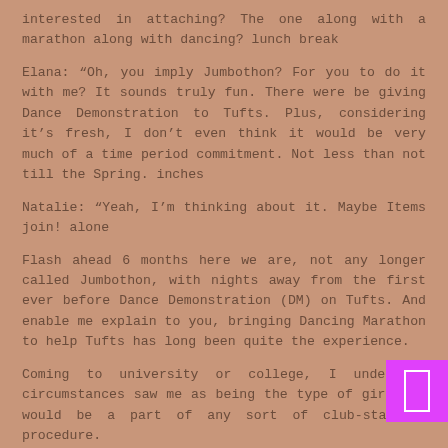interested in attaching? The one along with a marathon along with dancing? lunch break
Elana: “Oh, you imply Jumbothon? For you to do it with me? It sounds truly fun. There were be giving Dance Demonstration to Tufts. Plus, considering it’s fresh, I don’t even think it would be very much of a time period commitment. Not less than not till the Spring. inches
Natalie: “Yeah, I’m thinking about it. Maybe Items join! alone
Flash ahead 6 months here we are, not any longer called Jumbothon, with nights away from the first ever before Dance Demonstration (DM) on Tufts. And enable me explain to you, bringing Dancing Marathon to help Tufts has long been quite the experience.
Coming to university or college, I under no circumstances saw me as being the type of girl who would be a part of any sort of club-starting procedure.
In fact , when I first got here, after articulating dissatisfaction using the lack of the state photography organization, I